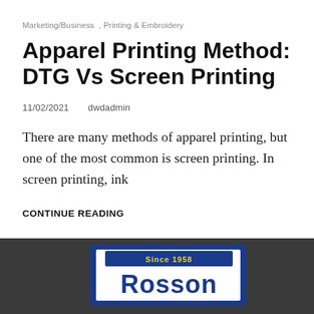Marketing/Business , Printing & Embroidery
Apparel Printing Method: DTG Vs Screen Printing
11/02/2021   dwdadmin
There are many methods of apparel printing, but one of the most common is screen printing. In screen printing, ink
CONTINUE READING
[Figure (photo): Partial view of a Rosson logo/sign with 'Since 1958' text above, displayed on a dark background. A circular scroll-up button appears in the bottom right corner.]